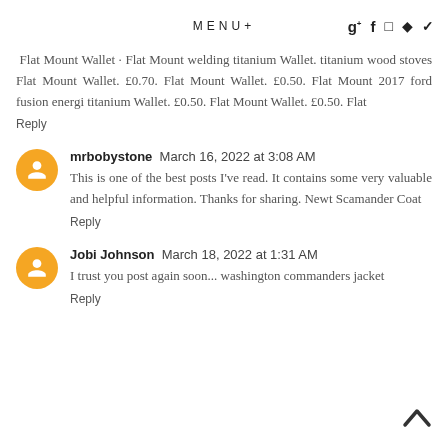MENU+
Flat Mount Wallet · Flat Mount welding titanium Wallet. titanium wood stoves Flat Mount Wallet. £0.70. Flat Mount Wallet. £0.50. Flat Mount 2017 ford fusion energi titanium Wallet. £0.50. Flat Mount Wallet. £0.50. Flat
Reply
mrbobystone  March 16, 2022 at 3:08 AM
This is one of the best posts I've read. It contains some very valuable and helpful information. Thanks for sharing. Newt Scamander Coat
Reply
Jobi Johnson  March 18, 2022 at 1:31 AM
I trust you post again soon... washington commanders jacket
Reply